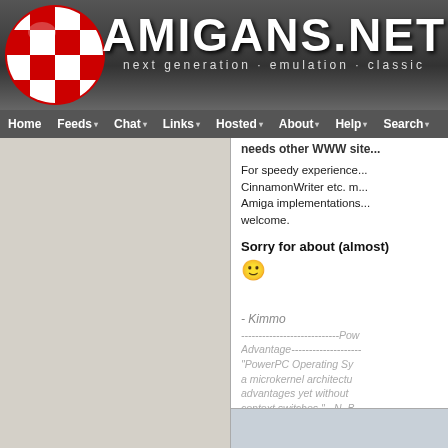[Figure (screenshot): Amigans.net website header with checkered red/white ball logo on left and AMIGANS.NET title text with tagline 'next generation · emulation · classic' on dark grey background]
Home  Feeds  Chat  Links  Hosted  About  Help  Search
For speedy experience. CinnamonWriter etc. m... Amiga implementations... welcome.
Sorry for about (almost)...
- Kimmo
----------------------------Pow Advantage------------------- "PowerPC Operating Sy a microkernel architectu advantages yet without context switches." - N. B
Powered by XOOPS 2.0 © 2001-2016 The XOOPS Project